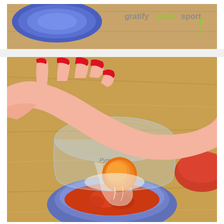[Figure (photo): Top portion of a food blog page showing a blue bowl on a wooden cutting board surface, with a green and grey watermark logo reading 'gratify your sport' in the upper right corner.]
[Figure (photo): A hand with red nail polish tilting a clear glass measuring cup to pour a raw egg (with orange yolk and white) into a small ceramic bowl containing tomato sauce or crushed tomatoes, on a wooden surface. A red bowl is partially visible on the right.]